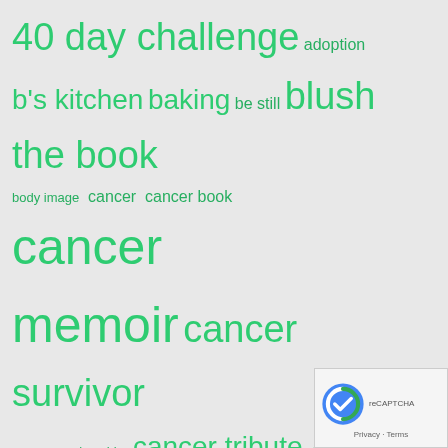[Figure (infographic): Tag cloud with green text tags of various sizes on a light gray background. Tags include: 40 day challenge, adoption, b's kitchen, baking, be still, blush the book, body image, cancer, cancer book, cancer memoir, cancer survivor, cancer survivorship, cancer tribute, christmas, colon cancer, colon cancer at age 17, colon cancer survivor, colon cancer survivor blog, colonoscopy, colonoscopy prep, covid19, cure column, devotional, faith, following the cloud, grief, guatemala, health update, house church, identity in christ, lent 2018, loss, love, lynch syndrome, memoir (cut off), memoir writing (cut off), nouch church (cut off)]